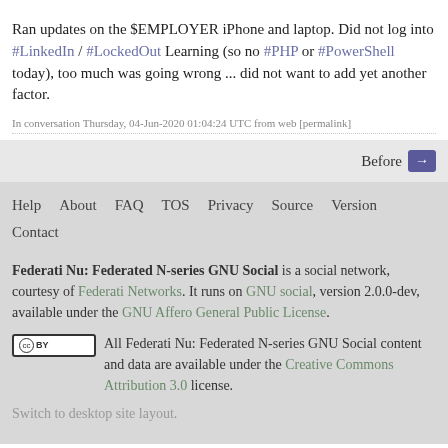Ran updates on the $EMPLOYER iPhone and laptop. Did not log into #LinkedIn / #LockedOut Learning (so no #PHP or #PowerShell today), too much was going wrong ... did not want to add yet another factor.
In conversation Thursday, 04-Jun-2020 01:04:24 UTC from web [permalink]
Before →
Help   About   FAQ   TOS   Privacy   Source   Version   Contact
Federati Nu: Federated N-series GNU Social is a social network, courtesy of Federati Networks. It runs on GNU social, version 2.0.0-dev, available under the GNU Affero General Public License.
All Federati Nu: Federated N-series GNU Social content and data are available under the Creative Commons Attribution 3.0 license.
Switch to desktop site layout.